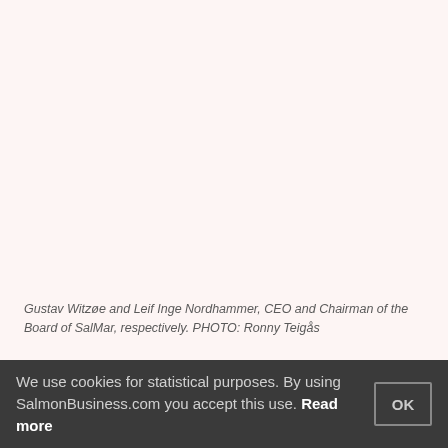[Figure (photo): Photo area of Gustav Witzøe and Leif Inge Nordhammer, CEO and Chairman of the Board of SalMar — image content cropped/not visible in this view]
Gustav Witzøe and Leif Inge Nordhammer, CEO and Chairman of the Board of SalMar, respectively. PHOTO: Ronny Teigås
SalMar offers NOK 370 i…
We use cookies for statistical purposes. By using SalmonBusiness.com you accept this use. Read more